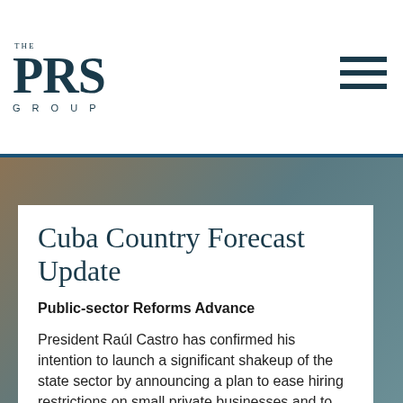THE PRS GROUP
Cuba Country Forecast Update
Public-sector Reforms Advance
President Raúl Castro has confirmed his intention to launch a significant shakeup of the state sector by announcing a plan to ease hiring restrictions on small private businesses and to issue more permits for